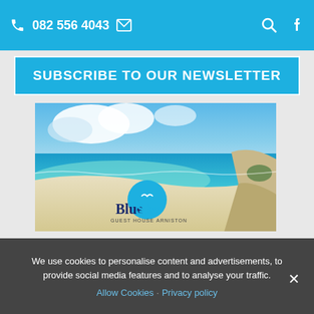082 556 4043 [phone] [email icon] [search icon] [facebook icon]
SUBSCRIBE TO OUR NEWSLETTER
[Figure (photo): Beach scene with turquoise ocean and white sandy shore under blue sky with clouds; BlueSky Guest House Arniston logo overlay]
Blue Sky Arniston Guesthouse is located in the quaint, tranquil village of Arniston/
We use cookies to personalise content and advertisements, to provide social media features and to analyse your traffic. Allow Cookies · Privacy policy